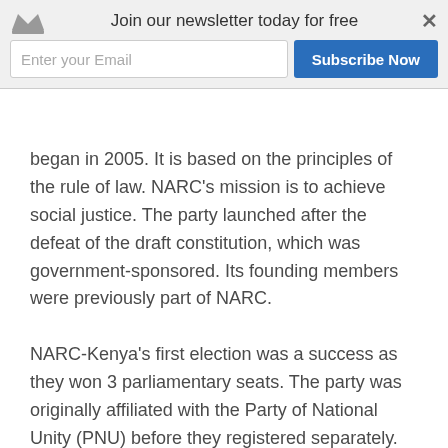[Figure (screenshot): Newsletter subscription banner with crown icon, 'Join our newsletter today for free' text, email input field, Subscribe Now button, and close X button]
began in 2005. It is based on the principles of the rule of law. NARC's mission is to achieve social justice. The party launched after the defeat of the draft constitution, which was government-sponsored. Its founding members were previously part of NARC.
NARC-Kenya's first election was a success as they won 3 parliamentary seats. The party was originally affiliated with the Party of National Unity (PNU) before they registered separately. NARC-Kenya was the first party to register after the new Political Parties Act was passed.